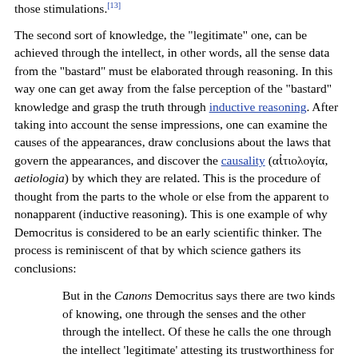those stimulations.[13]
The second sort of knowledge, the "legitimate" one, can be achieved through the intellect, in other words, all the sense data from the "bastard" must be elaborated through reasoning. In this way one can get away from the false perception of the "bastard" knowledge and grasp the truth through inductive reasoning. After taking into account the sense impressions, one can examine the causes of the appearances, draw conclusions about the laws that govern the appearances, and discover the causality (αἰτιολογία, aetiologia) by which they are related. This is the procedure of thought from the parts to the whole or else from the apparent to nonapparent (inductive reasoning). This is one example of why Democritus is considered to be an early scientific thinker. The process is reminiscent of that by which science gathers its conclusions:
But in the Canons Democritus says there are two kinds of knowing, one through the senses and the other through the intellect. Of these he calls the one through the intellect 'legitimate' attesting its trustworthiness for the judgment of truth, and through the senses he names 'bastard' denying its inerrancy in the discrimination of what is true. To quote his actual words: Of knowledge there are two forms, one legitimate, one bastard. To the bastard belong all this